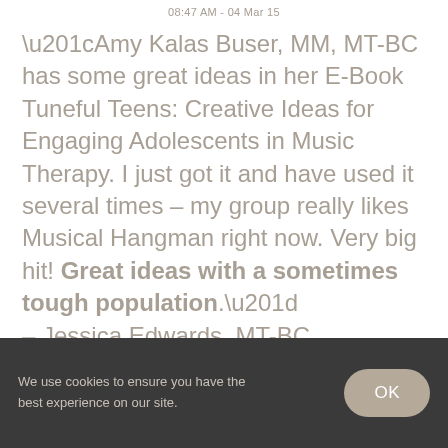08:47 AM - 04 Mar 15
“Amy Kalas Buser, MM, MT-BC has some great ideas in her E-Book Tuneful Teens: Creative Ideas for Engaging Adolescents in Music Therapy. I just got it and have used it several times – my group really likes Musical Hangman right now. Very big hit! Great ideas with a sometimes tough population.” – Jessica Edwards, MT-BC
We use cookies to ensure you have the best experience on our site.